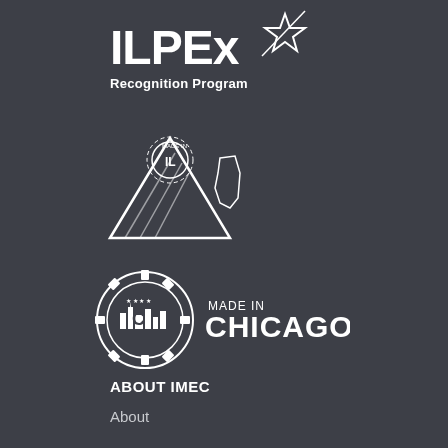[Figure (logo): ILPEx Recognition Program logo - white text on dark background with star graphic]
[Figure (logo): Made in IL logo - white graphic with Illinois state shape and gear/lightning bolt imagery]
[Figure (logo): Made in Chicago logo - circular gear/cog emblem with stars and text MADE IN CHICAGO]
ABOUT IMEC
About
IMEC Staff
News
Board of Directors
Subcontractor Registration
Careers